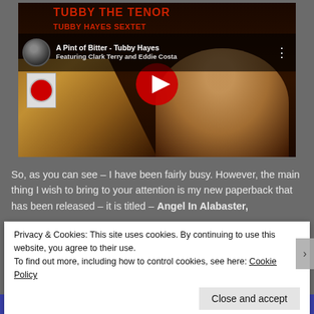[Figure (screenshot): YouTube video thumbnail showing album cover for 'Tubby the Tenor' by Tubby Hayes Sextet featuring Clark Terry and Eddie Costa. Shows a saxophone and a smiling man's face on a dark background. Video title overlay reads 'A Pint of Bitter - Tubby Hayes'. Red YouTube play button in center.]
So, as you can see – I have been fairly busy. However, the main thing I wish to bring to your attention is my new paperback that has been released – it is titled – Angel In Alabaster,
Privacy & Cookies: This site uses cookies. By continuing to use this website, you agree to their use.
To find out more, including how to control cookies, see here: Cookie Policy
Close and accept
app you'll need.